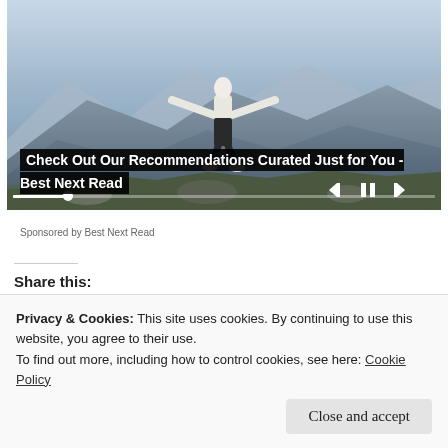[Figure (screenshot): Media player showing a person standing on a mountain top with arms outstretched, mountain landscape in background. Player controls (skip back, pause, skip forward) in bottom right. Progress bar near bottom.]
Check Out Our Recommendations Curated Just for You - Best Next Read
Sponsored by Best Next Read
Share this:
Share
Privacy & Cookies: This site uses cookies. By continuing to use this website, you agree to their use.
To find out more, including how to control cookies, see here: Cookie Policy
Close and accept